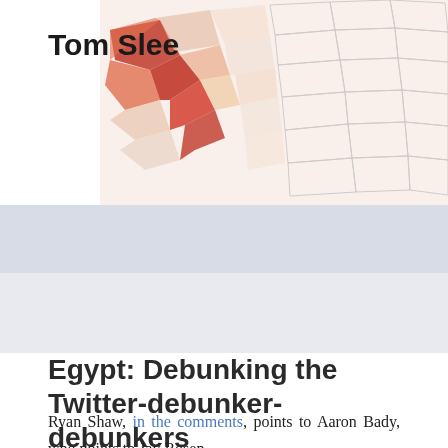Tom Slee
[Figure (map): Choropleth map showing geographic regions with varying shades of red/orange, with darker red in the left portion and lighter shades on the right.]
☰ (hamburger menu icon)
▶ Home » Uncategorized » Egypt: Debunking the Twitter-debunker-debunkers
Egypt: Debunking the Twitter-debunker-debunkers
February 15, 2011  Uncategorized
Ryan Shaw, in the comments, points to Aaron Bady, who points to Jay Rosen.

Jay Rosen and Aaron Bady dislike simplistic "debunking"